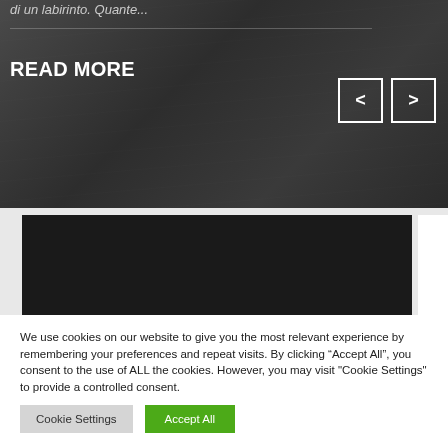[Figure (photo): Dark textured wooden background with colored objects (green and yellow items visible at top right). Shows partial italic text 'di un labirinto. Quante...' at top and a READ MORE link with navigation arrows.]
di un labirinto. Quante...
READ MORE
[Figure (photo): Dark near-black rectangular block section with light gray background on sides]
We use cookies on our website to give you the most relevant experience by remembering your preferences and repeat visits. By clicking “Accept All”, you consent to the use of ALL the cookies. However, you may visit "Cookie Settings" to provide a controlled consent.
Cookie Settings
Accept All